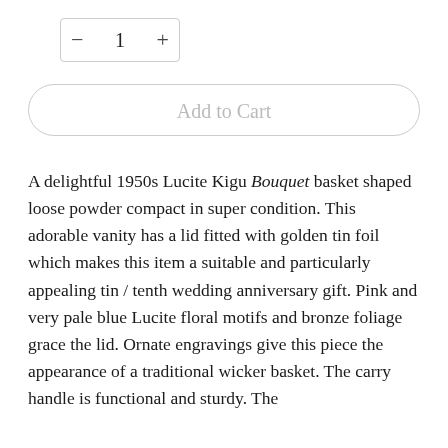[Figure (other): Quantity selector widget with minus button, number 1, and plus button inside a bordered box]
[Figure (other): Add to Cart button — large pill-shaped outlined button with light grey text]
A delightful 1950s Lucite Kigu Bouquet basket shaped loose powder compact in super condition. This adorable vanity has a lid fitted with golden tin foil which makes this item a suitable and particularly appealing tin / tenth wedding anniversary gift. Pink and very pale blue Lucite floral motifs and bronze foliage grace the lid. Ornate engravings give this piece the appearance of a traditional wicker basket. The carry handle is functional and sturdy. The missing letter if you can name it. The absence i